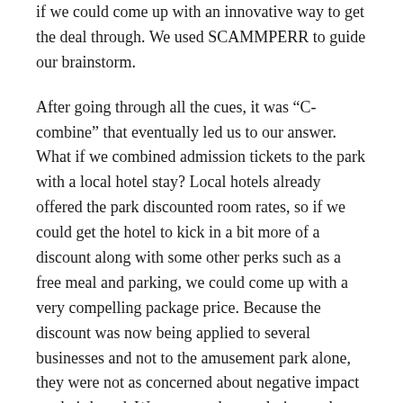if we could come up with an innovative way to get the deal through. We used SCAMMPERR to guide our brainstorm.
After going through all the cues, it was “C-combine” that eventually led us to our answer. What if we combined admission tickets to the park with a local hotel stay? Local hotels already offered the park discounted room rates, so if we could get the hotel to kick in a bit more of a discount along with some other perks such as a free meal and parking, we could come up with a very compelling package price. Because the discount was now being applied to several businesses and not to the amusement park alone, they were not as concerned about negative impact on their brand. We presented our solution to the business and they were delighted. The deal closed and produced more revenue than any other offer that year.